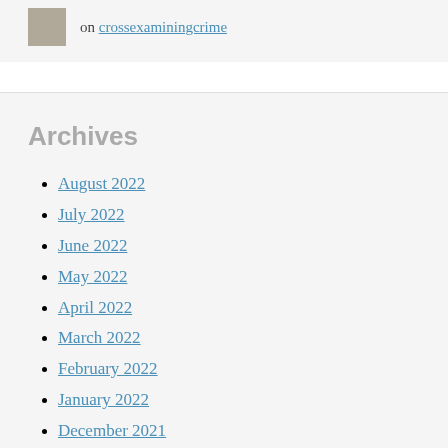on crossexaminingcrime
Archives
August 2022
July 2022
June 2022
May 2022
April 2022
March 2022
February 2022
January 2022
December 2021
November 2021